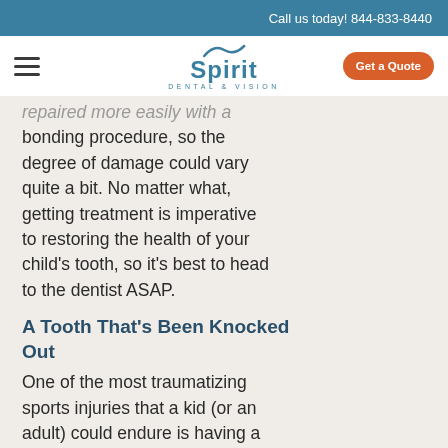Call us today! 844-833-8440
[Figure (logo): Spirit Dental & Vision logo with navigation bar including hamburger menu and Get a Quote button]
repaired more easily with a bonding procedure, so the degree of damage could vary quite a bit. No matter what, getting treatment is imperative to restoring the health of your child's tooth, so it's best to head to the dentist ASAP.
A Tooth That's Been Knocked Out
One of the most traumatizing sports injuries that a kid (or an adult) could endure is having a tooth completely knocked out. The good news, though, is that a